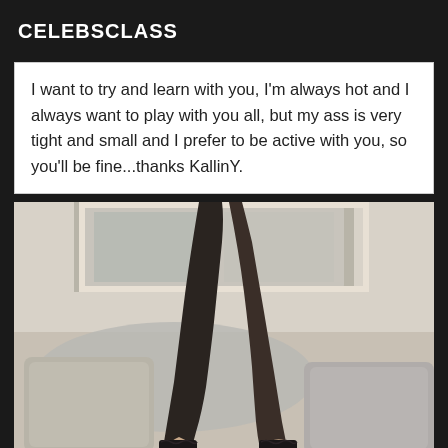CELEBSCLASS
I want to try and learn with you, I'm always hot and I always want to play with you all, but my ass is very tight and small and I prefer to be active with you, so you'll be fine...thanks KallinY.
[Figure (photo): Photo of person's legs in dark stockings/hosiery resting on a couch with decorative pillows and a mirror visible in the background]